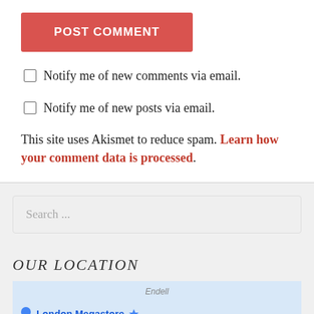POST COMMENT
Notify me of new comments via email.
Notify me of new posts via email.
This site uses Akismet to reduce spam. Learn how your comment data is processed.
Search ...
OUR LOCATION
[Figure (map): Map showing London Megastore location with map pin and partial street labels including Endell and 'and Poli' text on right edge]